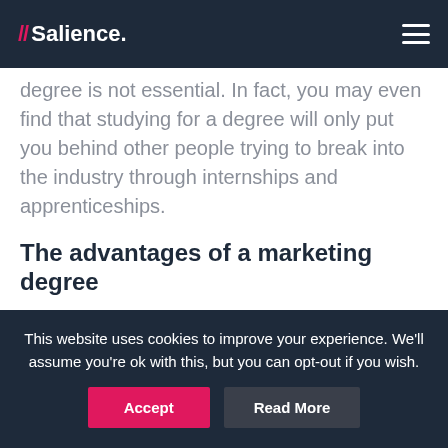Salience.
degree is not essential. In fact, you may even find that studying for a degree will only put you behind other people trying to break into the industry through internships and apprenticeships.
The advantages of a marketing degree
That’s not to be said there aren’t any benefits to having a degree in marketing.
This website uses cookies to improve your experience. We’ll assume you’re ok with this, but you can opt-out if you wish.